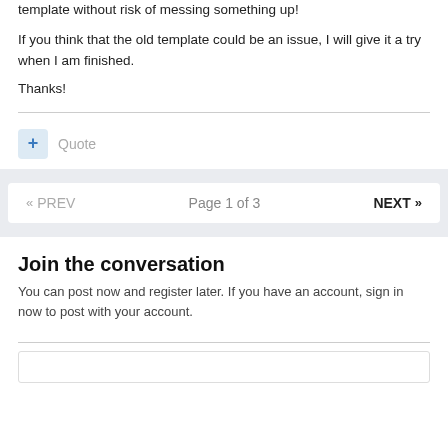template without risk of messing something up!
If you think that the old template could be an issue, I will give it a try when I am finished.
Thanks!
+ Quote
« PREV   Page 1 of 3   NEXT »
Join the conversation
You can post now and register later. If you have an account, sign in now to post with your account.